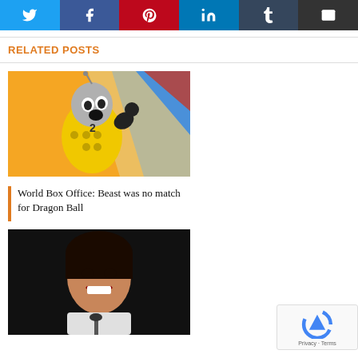[Figure (other): Social share buttons row: Twitter (blue), Facebook (dark blue), Pinterest (red), LinkedIn (light blue), Tumblr (dark navy), Email (dark grey), each with white icon]
RELATED POSTS
[Figure (illustration): Animated cartoon character in yellow suit with number 2, raising fist, colorful background with orange and blue shapes]
World Box Office: Beast was no match for Dragon Ball
[Figure (photo): Photo of a smiling woman with dark hair, speaking at a microphone, against a dark background]